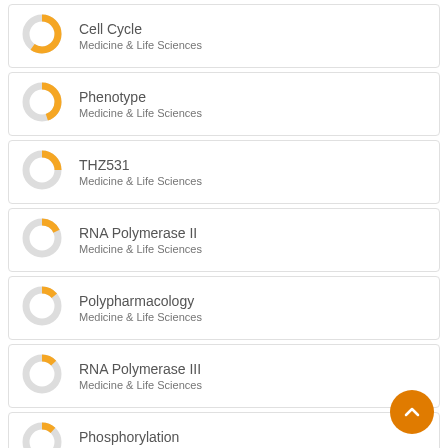Cell Cycle — Medicine & Life Sciences
Phenotype — Medicine & Life Sciences
THZ531 — Medicine & Life Sciences
RNA Polymerase II — Medicine & Life Sciences
Polypharmacology — Medicine & Life Sciences
RNA Polymerase III — Medicine & Life Sciences
Phosphorylation — Medicine & Life Sciences